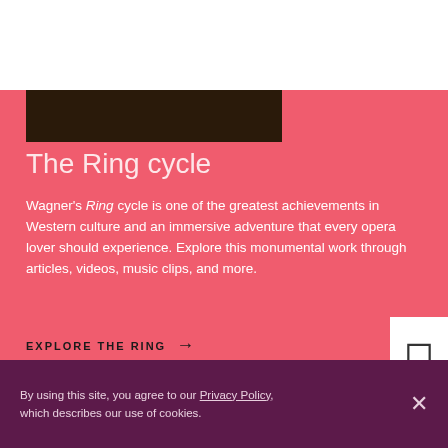[Figure (logo): Lyric Opera of Chicago logo — white italic script 'Lyric' over 'OPERA OF CHICAGO' on purple background]
The Ring cycle
Wagner's Ring cycle is one of the greatest achievements in Western culture and an immersive adventure that every opera lover should experience. Explore this monumental work through articles, videos, music clips, and more.
EXPLORE THE RING →
By using this site, you agree to our Privacy Policy, which describes our use of cookies.